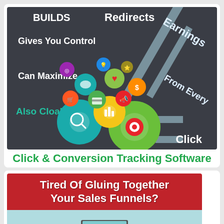[Figure (infographic): Click & Conversion Tracking Software promotional banner with dark background, word cloud (BUILDS, Redirects, Earnings, Gives You Control, Can Maximize, From Every, Also Cloaks, Click), diagonal light blue stripes, and colorful marketing icon bubbles]
Click & Conversion Tracking Software
[Figure (infographic): Tired Of Gluing Together Your Sales Funnels? - Red header with white bold text over illustration of cartoon people at a laptop]